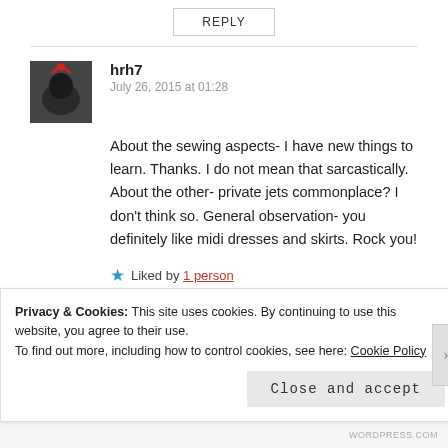REPLY
hrh7
July 26, 2015 at 01:28
About the sewing aspects- I have new things to learn. Thanks. I do not mean that sarcastically. About the other- private jets commonplace? I don’t think so. General observation- you definitely like midi dresses and skirts. Rock you!
★ Liked by 1 person
REPLY
Privacy & Cookies: This site uses cookies. By continuing to use this website, you agree to their use.
To find out more, including how to control cookies, see here: Cookie Policy
Close and accept